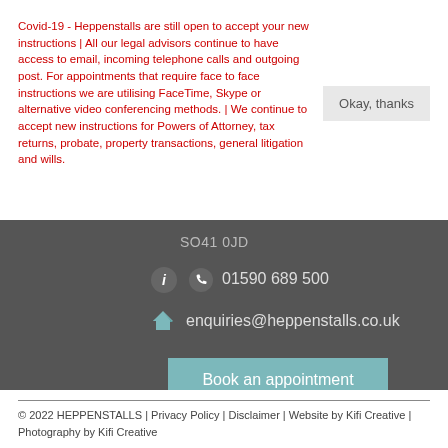Covid-19 - Heppenstalls are still open to accept your new instructions | All our legal advisors continue to have access to email, incoming telephone calls and outgoing post. For appointments that require face to face instructions we are utilising FaceTime, Skype or alternative video conferencing methods. | We continue to accept new instructions for Powers of Attorney, tax returns, probate, property transactions, general litigation and wills.
Okay, thanks
SO41 0JD
01590 689 500
enquiries@heppenstalls.co.uk
Book an appointment
© 2022 HEPPENSTALLS | Privacy Policy | Disclaimer | Website by Kifi Creative | Photography by Kifi Creative